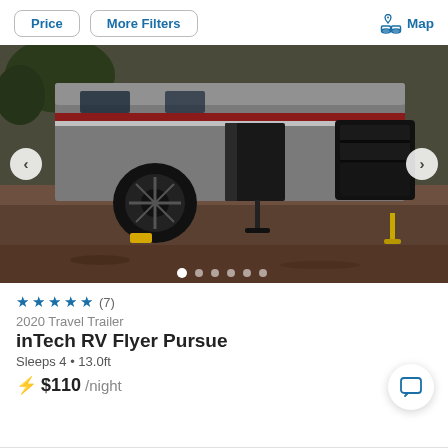Price
More Filters
Map
[Figure (photo): Travel trailer RV parked on dirt/gravel, showing the side with door open and a large black storage box, with a spare tire and stabilizer jacks visible. Carousel navigation arrows on left and right.]
★★★★★ (7)
2020 Travel Trailer
inTech RV Flyer Pursue
Sleeps 4 • 13.0ft
⚡ $110 /night